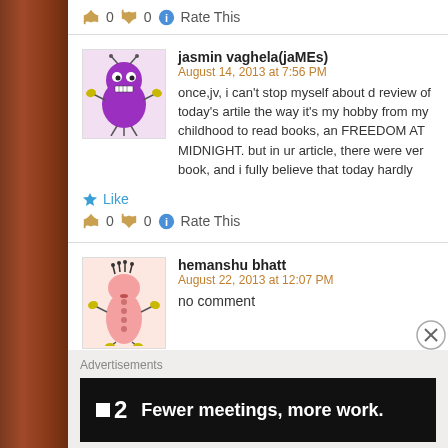👍 0 👎 0 ℹ️ Rate This
jasmin vaghela(jaMEs)
August 14, 2013 at 7:56 PM
once,jv, i can't stop myself about d review of today's artile the way it's my hobby from my childhood to read books, an FREEDOM AT MIDNIGHT. but in ur article, there were ver book, and i fully believe that today hardly indians understa haven't got freedom expressing our thoughts freely. fully a
Like
👍 0 👎 0 ℹ️ Rate This
hemanshu bhatt
August 22, 2013 at 12:07 PM
no comment
Like
Advertisements
[Figure (screenshot): Advertisement banner: black background, Planio logo (square + '2') and text 'Fewer meetings, more work.']